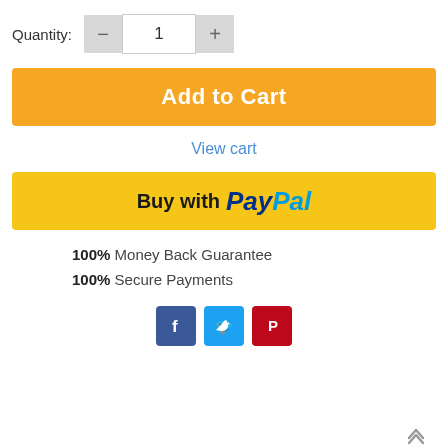Quantity: 1
[Figure (other): Add to Cart orange button]
View cart
[Figure (other): Buy with PayPal yellow button]
100% Money Back Guarantee
100% Secure Payments
[Figure (other): Social share icons: Facebook, Twitter, Pinterest]